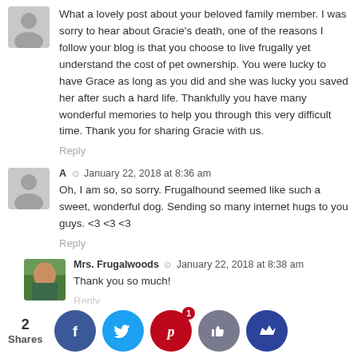What a lovely post about your beloved family member. I was sorry to hear about Gracie's death, one of the reasons I follow your blog is that you choose to live frugally yet understand the cost of pet ownership. You were lucky to have Grace as long as you did and she was lucky you saved her after such a hard life. Thankfully you have many wonderful memories to help you through this very difficult time. Thank you for sharing Gracie with us.
Reply
A · January 22, 2018 at 8:36 am
Oh, I am so, so sorry. Frugalhound seemed like such a sweet, wonderful dog. Sending so many internet hugs to you guys. <3 <3 <3
Reply
Mrs. Frugalwoods · January 22, 2018 at 8:38 am
Thank you so much!
Reply